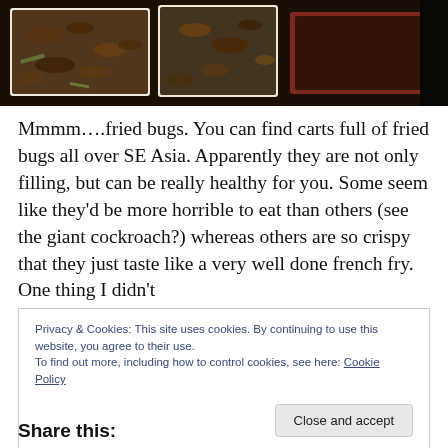[Figure (photo): Trays of fried bugs/insects for sale, viewed from above, showing dark brown crispy insects in white rectangular food trays on a red-bordered surface]
Mmmm….fried bugs.  You can find carts full of fried bugs all over SE Asia.  Apparently they are not only filling, but can be really healthy for you.  Some seem like they'd be more horrible to eat than others (see the giant cockroach?) whereas others are so crispy that they just taste like a very well done french fry.   One thing I didn't
Privacy & Cookies: This site uses cookies. By continuing to use this website, you agree to their use.
To find out more, including how to control cookies, see here: Cookie Policy
Close and accept
Share this: